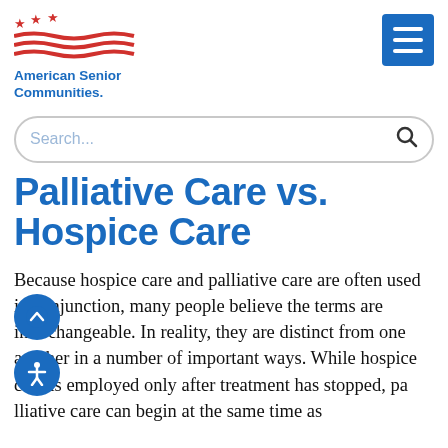[Figure (logo): American Senior Communities logo with red wave/stars graphic and blue bold text]
[Figure (other): Blue hamburger menu button with three white horizontal lines]
Search...
Palliative Care vs. Hospice Care
Because hospice care and palliative care are often used in conjunction, many people believe the terms are interchangeable. In reality, they are distinct from one another in a number of important ways. While hospice care is employed only after treatment has stopped, palliative care can begin at the same time as